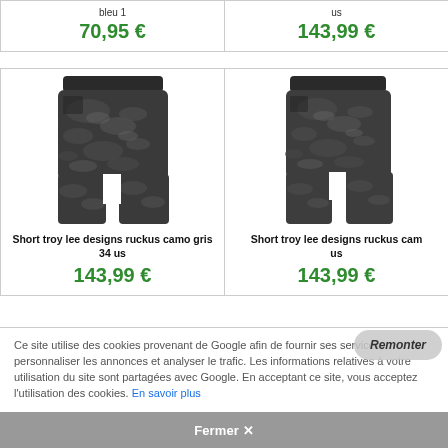| Product Left | Product Right |
| --- | --- |
| bleu 1
70,95 € | us
143,99 € |
| Short troy lee designs ruckus camo gris 34 us
143,99 € | Short troy lee designs ruckus cam
us
143,99 € |
Ce site utilise des cookies provenant de Google afin de fournir ses services, personnaliser les annonces et analyser le trafic. Les informations relatives à votre utilisation du site sont partagées avec Google. En acceptant ce site, vous acceptez l'utilisation des cookies. En savoir plus
Fermer ✕